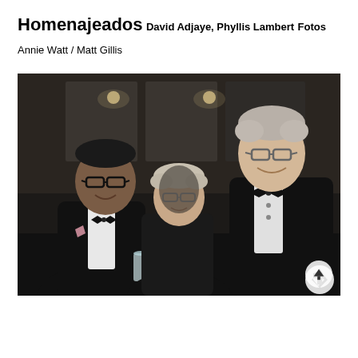Homenajeados
David Adjaye, Phyllis Lambert
Fotos
Annie Watt / Matt Gillis
[Figure (photo): Three people posing for a photo at a formal event. On the left is a man of South Asian descent wearing glasses and a tuxedo with bow tie and pocket square. In the center is an elderly woman with short light hair wearing glasses and a dark outfit. On the right is a tall older man with gray hair wearing glasses and a tuxedo with bow tie. The background shows a dark indoor venue setting.]